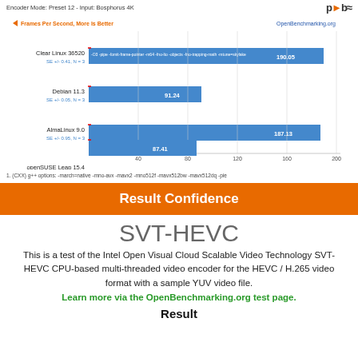Encoder Mode: Preset 12 - Input: Bosphorus 4K
[Figure (bar-chart): Frames Per Second, More Is Better]
1. (CXX) g++ options: -march=native -mno-avx -mavx2 -mno512f -mavx512bw -mavx512dq -pie
Result Confidence
SVT-HEVC
This is a test of the Intel Open Visual Cloud Scalable Video Technology SVT-HEVC CPU-based multi-threaded video encoder for the HEVC / H.265 video format with a sample YUV video file.
Learn more via the OpenBenchmarking.org test page.
Result